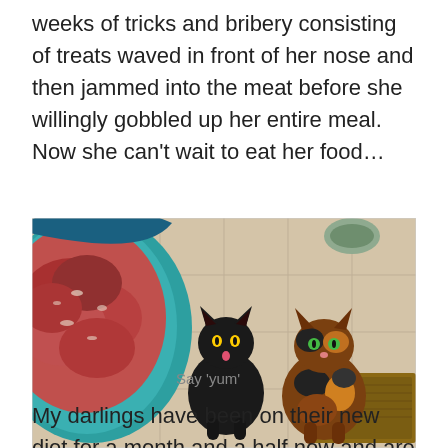weeks of tricks and bribery consisting of treats waved in front of her nose and then jammed into the meat before she willingly gobbled up her entire meal. Now she can't wait to eat her food…
[Figure (photo): A photo showing two cats (one black, one tortoiseshell) sitting on a tiled kitchen floor next to a large bowl of raw ground meat]
Say 'yum'
My darlings have been on their new diet for a month and a half now and are still happy and energetic as ever.